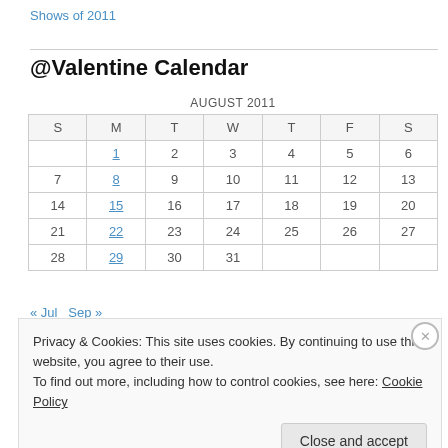Shows of 2011
@Valentine Calendar
| S | M | T | W | T | F | S |
| --- | --- | --- | --- | --- | --- | --- |
|  | 1 | 2 | 3 | 4 | 5 | 6 |
| 7 | 8 | 9 | 10 | 11 | 12 | 13 |
| 14 | 15 | 16 | 17 | 18 | 19 | 20 |
| 21 | 22 | 23 | 24 | 25 | 26 | 27 |
| 28 | 29 | 30 | 31 |  |  |  |
« Jul  Sep »
Privacy & Cookies: This site uses cookies. By continuing to use this website, you agree to their use.
To find out more, including how to control cookies, see here: Cookie Policy
Close and accept